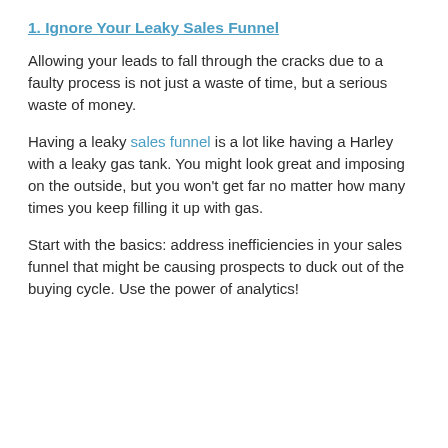1. Ignore Your Leaky Sales Funnel
Allowing your leads to fall through the cracks due to a faulty process is not just a waste of time, but a serious waste of money.
Having a leaky sales funnel is a lot like having a Harley with a leaky gas tank. You might look great and imposing on the outside, but you won't get far no matter how many times you keep filling it up with gas.
Start with the basics: address inefficiencies in your sales funnel that might be causing prospects to duck out of the buying cycle. Use the power of analytics!